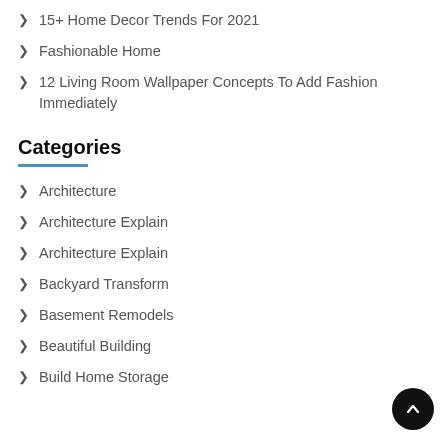15+ Home Decor Trends For 2021
Fashionable Home
12 Living Room Wallpaper Concepts To Add Fashion Immediately
Categories
Architecture
Architecture Explain
Architecture Explain
Backyard Transform
Basement Remodels
Beautiful Building
Build Home Storage